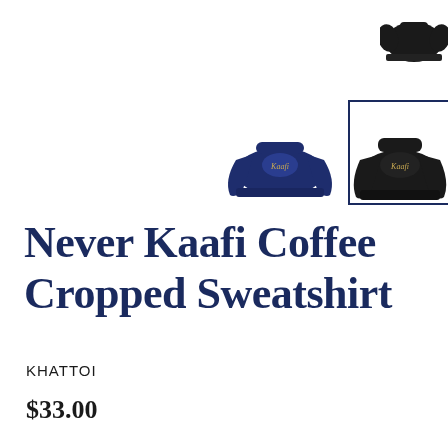[Figure (photo): Product images showing two cropped sweatshirts: a navy blue version on the left and a black version on the right with a selection border. A small black sweatshirt is partially visible in the top right corner.]
Never Kaafi Coffee Cropped Sweatshirt
KHATTOI
$33.00